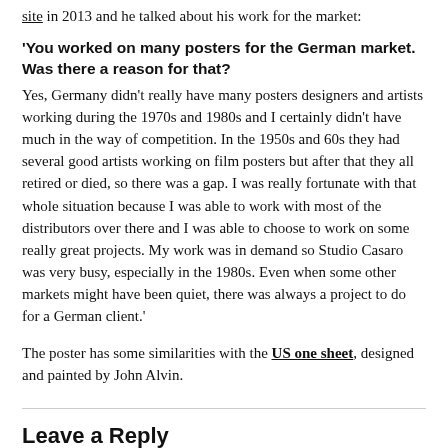site in 2013 and he talked about his work for the market:
'You worked on many posters for the German market. Was there a reason for that? Yes, Germany didn't really have many posters designers and artists working during the 1970s and 1980s and I certainly didn't have much in the way of competition. In the 1950s and 60s they had several good artists working on film posters but after that they all retired or died, so there was a gap. I was really fortunate with that whole situation because I was able to work with most of the distributors over there and I was able to choose to work on some really great projects. My work was in demand so Studio Casaro was very busy, especially in the 1980s. Even when some other markets might have been quiet, there was always a project to do for a German client.'
The poster has some similarities with the US one sheet, designed and painted by John Alvin.
Leave a Reply